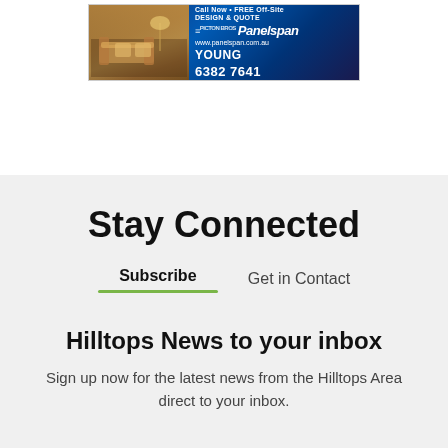[Figure (illustration): Advertisement banner for Panelspan (Picton Bros), showing furniture/interior image on the left and blue gradient background on the right with text: Call Now FREE Off-Site DESIGN & QUOTE, YOUNG, 6382 7641, www.panelspan.com.au]
Stay Connected
Subscribe    Get in Contact
Hilltops News to your inbox
Sign up now for the latest news from the Hilltops Area direct to your inbox.